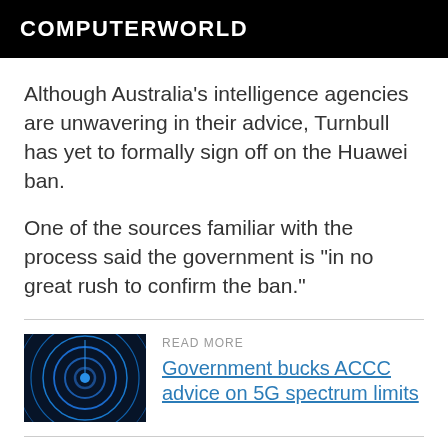COMPUTERWORLD
Although Australia's intelligence agencies are unwavering in their advice, Turnbull has yet to formally sign off on the Huawei ban.
One of the sources familiar with the process said the government is "in no great rush to confirm the ban."
[Figure (photo): Abstract blue circular wave/signal technology image on dark background]
READ MORE
Government bucks ACCC advice on 5G spectrum limits
"It is going to highlight the anxiety that Australian lawmakers have about the rise of China, and it is not